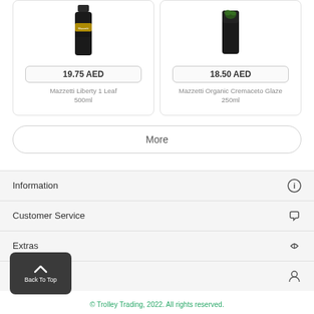[Figure (photo): Product photo of Mazzetti Liberty 1 Leaf 500ml bottle (dark glass bottle with gold label band)]
19.75 AED
Mazzetti Liberty 1 Leaf
500ml
[Figure (photo): Product photo of Mazzetti Organic Cremaceto Glaze 250ml bottle (dark cylindrical container with green herb decoration)]
18.50 AED
Mazzetti Organic Cremaceto Glaze
250ml
More
Information
Customer Service
Extras
Account
Back To Top
© Trolley Trading, 2022. All rights reserved.